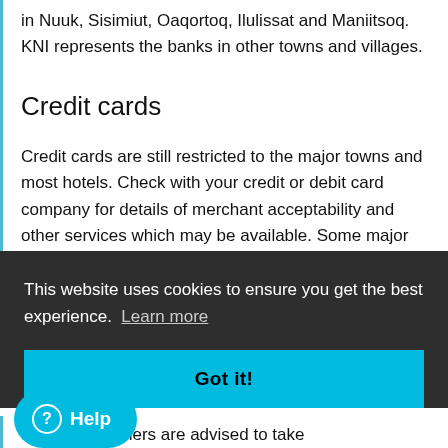in Nuuk, Sisimiut, Oaqortoq, Ilulissat and Maniitsoq. KNI represents the banks in other towns and villages.
Credit cards
Credit cards are still restricted to the major towns and most hotels. Check with your credit or debit card company for details of merchant acceptability and other services which may be available. Some major towns, like Ilulissat, now
This website uses cookies to ensure you get the best experience.  Learn more
Got it!
Help
charges, travelers are advised to take